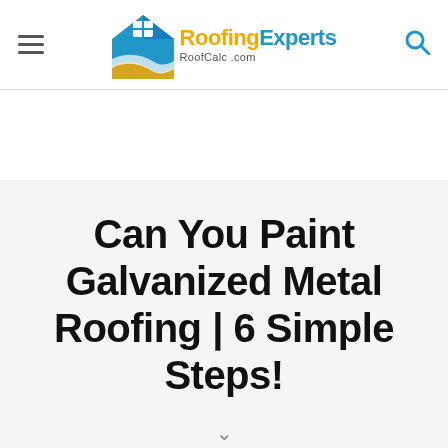RoofingExperts RoofCalc.com
Can You Paint Galvanized Metal Roofing | 6 Simple Steps!